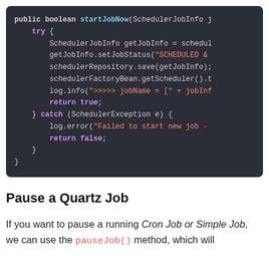[Figure (screenshot): Dark-themed code editor screenshot showing Java method startJobNow with try-catch block, syntax highlighted in purple, teal, and orange.]
Pause a Quartz Job
If you want to pause a running Cron Job or Simple Job, we can use the pauseJob() method, which will